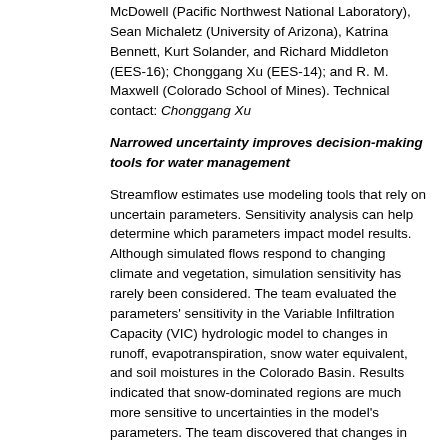McDowell (Pacific Northwest National Laboratory), Sean Michaletz (University of Arizona), Katrina Bennett, Kurt Solander, and Richard Middleton (EES-16); Chonggang Xu (EES-14); and R. M. Maxwell (Colorado School of Mines). Technical contact: Chonggang Xu
Narrowed uncertainty improves decision-making tools for water management
Streamflow estimates use modeling tools that rely on uncertain parameters. Sensitivity analysis can help determine which parameters impact model results. Although simulated flows respond to changing climate and vegetation, simulation sensitivity has rarely been considered. The team evaluated the parameters' sensitivity in the Variable Infiltration Capacity (VIC) hydrologic model to changes in runoff, evapotranspiration, snow water equivalent, and soil moistures in the Colorado Basin. Results indicated that snow-dominated regions are much more sensitive to uncertainties in the model's parameters. The team discovered that changes in runoff and evapotranspiration are sensitive to the Earth's surface reflectivity, while changes in snow water equivalent are sensitive to vegetation canopy size. Projections anticipate that parameters will change. Narrowing uncertainty is